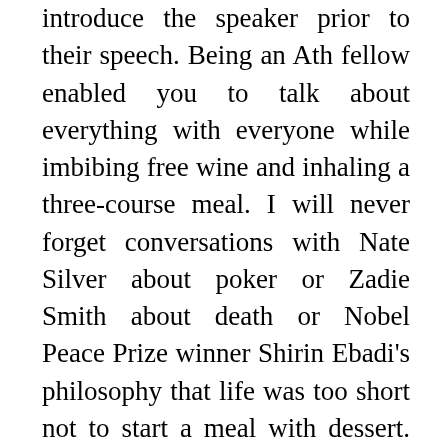introduce the speaker prior to their speech. Being an Ath fellow enabled you to talk about everything with everyone while imbibing free wine and inhaling a three-course meal. I will never forget conversations with Nate Silver about poker or Zadie Smith about death or Nobel Peace Prize winner Shirin Ebadi's philosophy that life was too short not to start a meal with dessert. Yet the part I enjoyed most was creating that little introductory speech at the beginning to frame the conversation (example here). The speech provided context for the speaker's work and why that work was significant to our college in that particular moment. It was an example of another form of making that is ephemeral and difficult to grasp in the moment yet truly consequential. As an Ath Fellow, I reveled in the intangible impact of words and their potential to shape and mold our